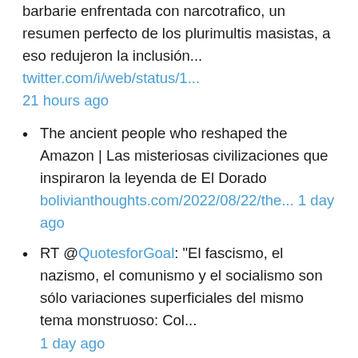barbarie enfrentada con narcotrafico, un resumen perfecto de los plurimultis masistas, a eso redujeron la inclusión... twitter.com/i/web/status/1... 21 hours ago
The ancient people who reshaped the Amazon | Las misteriosas civilizaciones que inspiraron la leyenda de El Dorado bolivianthoughts.com/2022/08/22/the... 1 day ago
RT @QuotesforGoal: "El fascismo, el nazismo, el comunismo y el socialismo son sólo variaciones superficiales del mismo tema monstruoso: Col... 1 day ago
Buen día @Pontifex_es Como jefe de estado creo que debió ser más firme. Debió mencionar por nombre y apellido a to... twitter.com/i/web/status/1... 1 day ago
De las nostalgias de don Choque Wanca ...